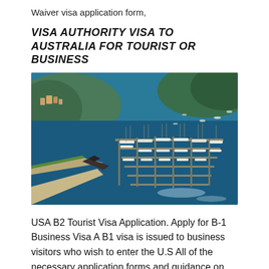Waiver visa application form,
VISA AUTHORITY VISA TO AUSTRALIA FOR TOURIST OR BUSINESS
[Figure (photo): Aerial photograph of a marina with numerous sailboats and motorboats docked at piers, with a bay, hillside town, and forested cliffs in the background.]
USA B2 Tourist Visa Application. Apply for B-1 Business Visa A B1 visa is issued to business visitors who wish to enter the U.S All of the necessary application forms and guidance on